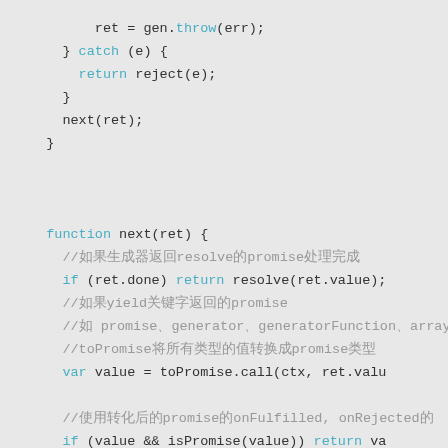ret = gen.throw(err);
} catch (e) {
  return reject(e);
}
next(ret);
}


function next(ret) {
//如果生成器返回resolve的promise处理完成
if (ret.done) return resolve(ret.value);
//如果yield关键字返回的promise
//如 promise、generator、generatorFunction、array等
//toPromise将所有类型的值转换成promise类型
var value = toPromise.call(ctx, ret.valu
//使用转化后的promise的onFulfilled, onRejected的
if (value && isPromise(value)) return va